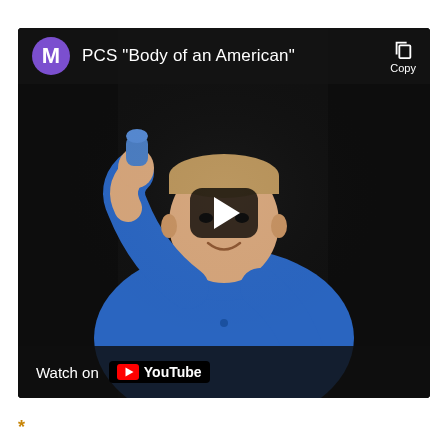[Figure (screenshot): YouTube video thumbnail/embed showing a man in a blue polo shirt holding up a small blue object against a dark background. The video is titled 'PCS "Body of an American"' with a purple M avatar icon on the left. A play button overlay is in the center. A 'Watch on YouTube' badge appears at the bottom left. A copy icon appears at the top right.]
*